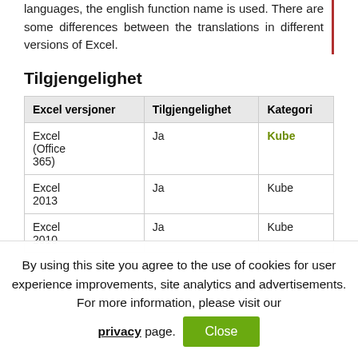languages, the english function name is used. There are some differences between the translations in different versions of Excel.
Tilgjengelighet
| Excel versjoner | Tilgjengelighet | Kategori |
| --- | --- | --- |
| Excel (Office 365) | Ja | Kube |
| Excel 2013 | Ja | Kube |
| Excel 2010 | Ja | Kube |
By using this site you agree to the use of cookies for user experience improvements, site analytics and advertisements. For more information, please visit our privacy page.